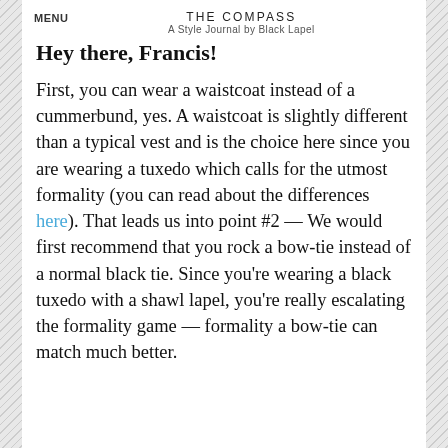MENU   THE COMPASS   A Style Journal by Black Lapel
Hey there, Francis!
First, you can wear a waistcoat instead of a cummerbund, yes. A waistcoat is slightly different than a typical vest and is the choice here since you are wearing a tuxedo which calls for the utmost formality (you can read about the differences here). That leads us into point #2 — We would first recommend that you rock a bow-tie instead of a normal black tie. Since you're wearing a black tuxedo with a shawl lapel, you're really escalating the formality game — formality a bow-tie can match much better.